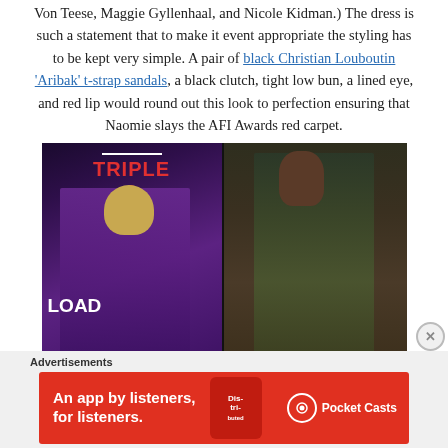Von Teese, Maggie Gyllenhaal, and Nicole Kidman.) The dress is such a statement that to make it event appropriate the styling has to be kept very simple. A pair of black Christian Louboutin 'Aribak' t-strap sandals, a black clutch, tight low bun, a lined eye, and red lip would round out this look to perfection ensuring that Naomie slays the AFI Awards red carpet.
[Figure (photo): Two-panel photo: left side shows a woman in a purple dress at a Triple 9 movie premiere backdrop; right side shows a model in a floral dress on a runway.]
Advertisements
[Figure (photo): Red advertisement banner for Pocket Casts app: 'An app by listeners, for listeners.' with Pocket Casts logo and a phone graphic showing 'Distributed' text.]